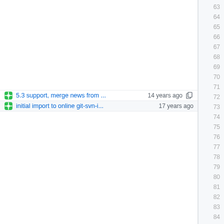5.3 support, merge news from ... 14 years ago
initial import to online git-svn-i... 17 years ago